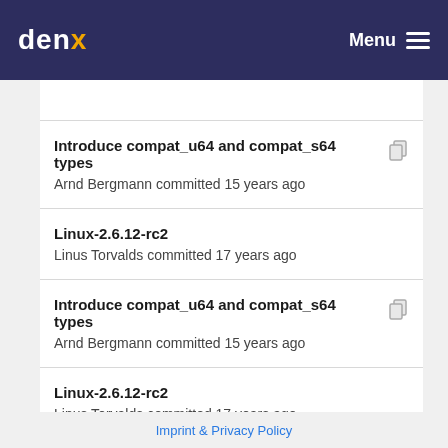denx  Menu
Introduce compat_u64 and compat_s64 types
Arnd Bergmann committed 15 years ago
Linux-2.6.12-rc2
Linus Torvalds committed 17 years ago
Introduce compat_u64 and compat_s64 types
Arnd Bergmann committed 15 years ago
Linux-2.6.12-rc2
Linus Torvalds committed 17 years ago
Imprint & Privacy Policy